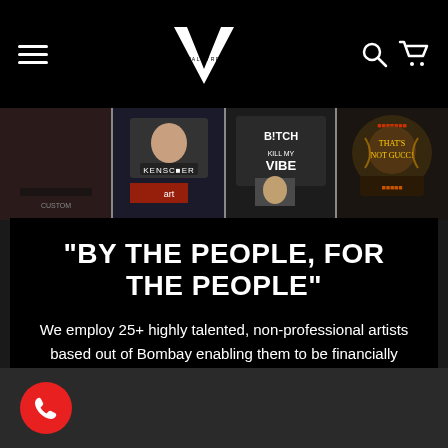VALKYRE — navigation header with hamburger menu, logo, search and cart icons
[Figure (photo): Four photos of custom painted/printed jackets arranged in a horizontal strip]
"BY THE PEOPLE, FOR THE PEOPLE"
We employ 25+ highly talented, non-professional artists based out of Bombay enabling them to be financially Independent while pursuing their passion for art.
[Figure (other): Red circular phone call button in bottom left corner]